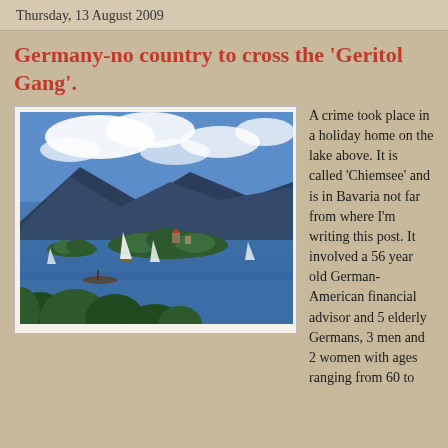Thursday, 13 August 2009
Germany-no country to cross the 'Geritol Gang'.
[Figure (photo): Scenic view of Chiemsee lake in Bavaria, Germany, with mountains in the background, an island with trees and buildings in the middle of the lake, and foreground trees. Blue sky with clouds.]
A crime took place in a holiday home on the lake above. It is called 'Chiemsee' and is in Bavaria not far from where I'm writing this post. It involved a 56 year old German-American financial advisor and 5 elderly Germans, 3 men and 2 women with ages ranging from 60 to